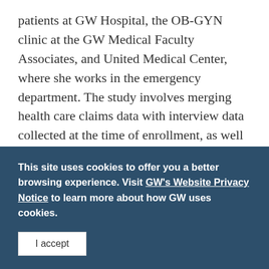patients at GW Hospital, the OB-GYN clinic at the GW Medical Faculty Associates, and United Medical Center, where she works in the emergency department. The study involves merging health care claims data with interview data collected at the time of enrollment, as well as six and 12 months later. All of the participants enrolled in the study are insured by the D.C. Medicaid program.

The investigators are using the data to determine how changes in patients' social and living circumstances, such as employment and housing status, affect their
This site uses cookies to offer you a better browsing experience. Visit GW's Website Privacy Notice to learn more about how GW uses cookies.
I accept